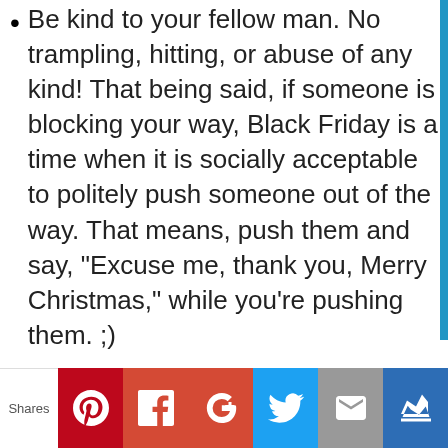Be kind to your fellow man. No trampling, hitting, or abuse of any kind! That being said, if someone is blocking your way, Black Friday is a time when it is socially acceptable to politely push someone out of the way. That means, push them and say, “Excuse me, thank you, Merry Christmas,” while you’re pushing them. ;)
It is a smart idea to do Black Friday with your spouse, child, or a friend. Each person gets a list of things to grab. If you see something on the other person's list